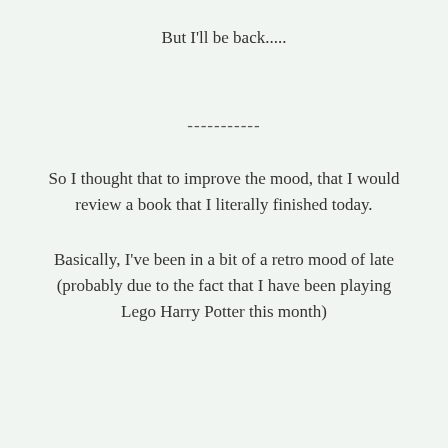But I'll be back.....
-----------
So I thought that to improve the mood, that I would review a book that I literally finished today.
Basically, I've been in a bit of a retro mood of late (probably due to the fact that I have been playing Lego Harry Potter this month)